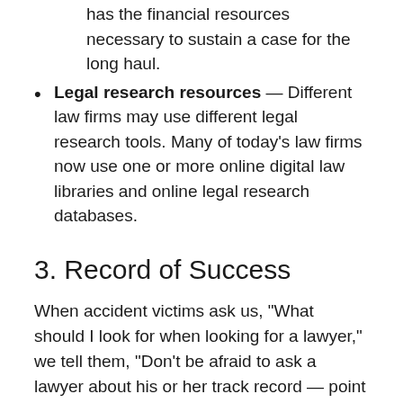has the financial resources necessary to sustain a case for the long haul.
Legal research resources — Different law firms may use different legal research tools. Many of today's law firms now use one or more online digital law libraries and online legal research databases.
3. Record of Success
When accident victims ask us, “What should I look for when looking for a lawyer,” we tell them, “Don’t be afraid to ask a lawyer about his or her track record — point blank.” While past results do not predict future outcomes, you may nevertheless feel more at ease knowing that